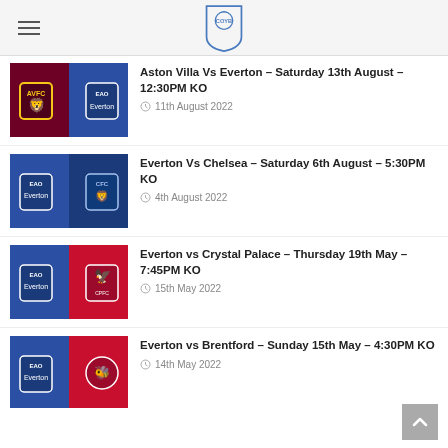COYB logo header
[Figure (illustration): Match thumbnail: Aston Villa vs Everton - split badge image, claret/blue for Villa, blue for Everton]
Aston Villa Vs Everton – Saturday 13th August – 12:30PM KO
11th August 2022
[Figure (illustration): Match thumbnail: Everton vs Chelsea - split badge image, blue for Everton, blue for Chelsea]
Everton Vs Chelsea – Saturday 6th August – 5:30PM KO
4th August 2022
[Figure (illustration): Match thumbnail: Everton vs Crystal Palace - split badge image, blue for Everton, red for Crystal Palace]
Everton vs Crystal Palace – Thursday 19th May – 7:45PM KO
15th May 2022
[Figure (illustration): Match thumbnail: Everton vs Brentford - split badge image, blue for Everton, red for Brentford]
Everton vs Brentford – Sunday 15th May – 4:30PM KO
14th May 2022